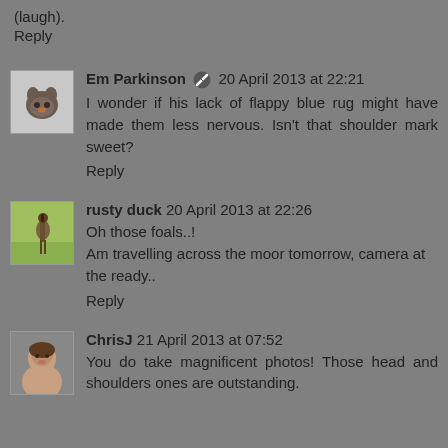(laugh).
Reply
Em Parkinson  20 April 2013 at 22:21
I wonder if his lack of flappy blue rug might have made them less nervous. Isn't that shoulder mark sweet?
Reply
rusty duck 20 April 2013 at 22:26
Oh those foals..!
Am travelling across the moor tomorrow, camera at the ready..
Reply
ChrisJ 21 April 2013 at 07:52
You do take magnificent photos! Those head and shoulders ones are outstanding.